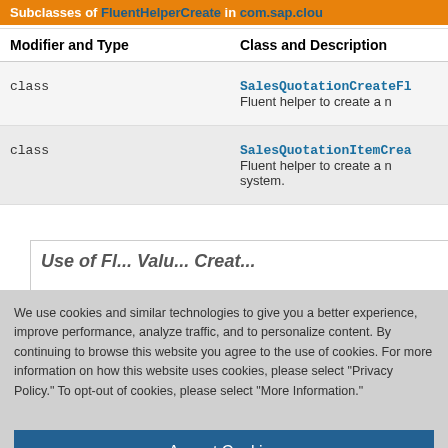Subclasses of FluentHelperCreate in com.sap.clou...
| Modifier and Type | Class and Description |
| --- | --- |
| class | SalesQuotationCreateFl...
Fluent helper to create a n... |
| class | SalesQuotationItemCrea...
Fluent helper to create a n... system. |
We use cookies and similar technologies to give you a better experience, improve performance, analyze traffic, and to personalize content. By continuing to browse this website you agree to the use of cookies. For more information on how this website uses cookies, please select "Privacy Policy." To opt-out of cookies, please select "More Information."
Accept Cookies
More Information
Privacy Policy | Powered by: TrustArc